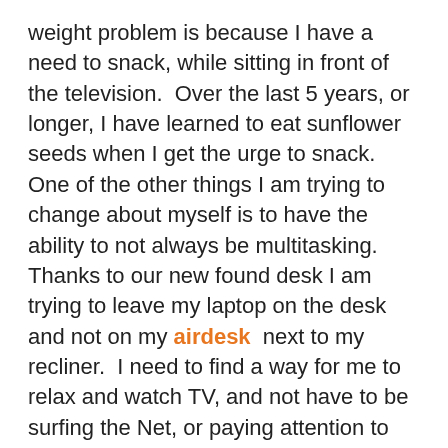weight problem is because I have a need to snack, while sitting in front of the television.  Over the last 5 years, or longer, I have learned to eat sunflower seeds when I get the urge to snack.  One of the other things I am trying to change about myself is to have the ability to not always be multitasking.  Thanks to our new found desk I am trying to leave my laptop on the desk and not on my airdesk  next to my recliner.  I need to find a way for me to relax and watch TV, and not have to be surfing the Net, or paying attention to social media, or the IRC channel, that I have been helping to moderate for the last 2 or 3 years.
I am drawn to social media and the IRC channel named #imprfect_christian because it is a community of people that I have learned how to connect with.  I spent a decade on IRC back in the early 90's, when BBS's were the hot thing going, and the way to connect with a community of people all around the